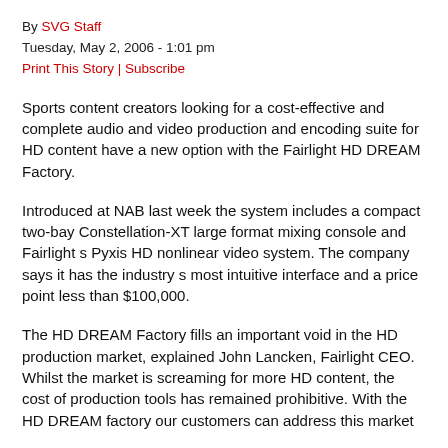By SVG Staff
Tuesday, May 2, 2006 - 1:01 pm
Print This Story | Subscribe
Sports content creators looking for a cost-effective and complete audio and video production and encoding suite for HD content have a new option with the Fairlight HD DREAM Factory.
Introduced at NAB last week the system includes a compact two-bay Constellation-XT large format mixing console and Fairlight s Pyxis HD nonlinear video system. The company says it has the industry s most intuitive interface and a price point less than $100,000.
The HD DREAM Factory fills an important void in the HD production market, explained John Lancken, Fairlight CEO. Whilst the market is screaming for more HD content, the cost of production tools has remained prohibitive. With the HD DREAM factory our customers can address this market